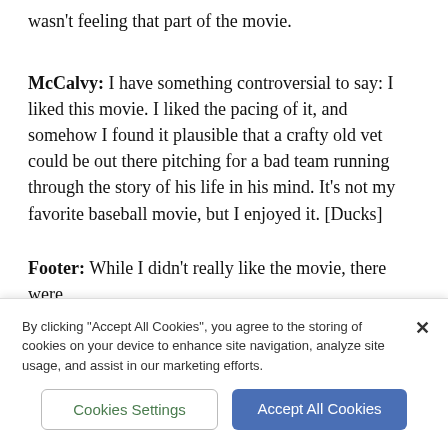wasn't feeling that part of the movie.
McCalvy: I have something controversial to say: I liked this movie. I liked the pacing of it, and somehow I found it plausible that a crafty old vet could be out there pitching for a bad team running through the story of his life in his mind. It's not my favorite baseball movie, but I enjoyed it. [Ducks]
Footer: While I didn't really like the movie, there were parts that hit me a little bit. One of the last scenes for...
By clicking "Accept All Cookies", you agree to the storing of cookies on your device to enhance site navigation, analyze site usage, and assist in our marketing efforts.
Cookies Settings
Accept All Cookies